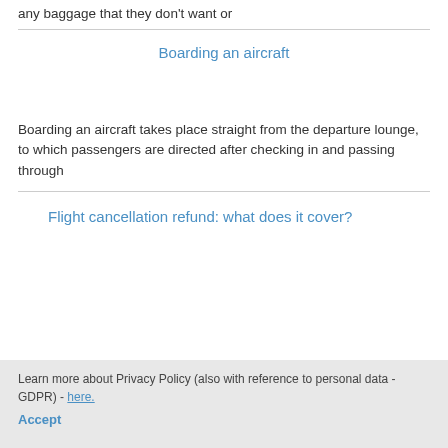any baggage that they don't want or
Boarding an aircraft
Boarding an aircraft takes place straight from the departure lounge, to which passengers are directed after checking in and passing through
Flight cancellation refund: what does it cover?
Learn more about Privacy Policy (also with reference to personal data - GDPR) - here.
Accept